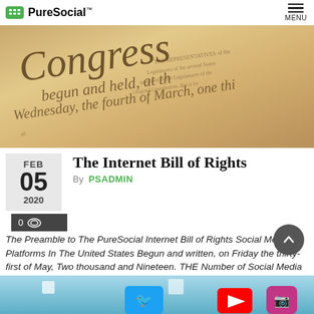PureSocial™ MENU
[Figure (photo): Close-up photograph of the U.S. Constitution/Bill of Rights preamble handwritten text, sepia-toned, showing 'Congress' in large script and other cursive text on aged parchment]
The Internet Bill of Rights
By PSADMIN
The Preamble to The PureSocial Internet Bill of Rights Social Media Platforms In The United States Begun and written, on Friday the thirty-first of May, Two thousand and Nineteen. THE Number of Social Media providers, having at the time of their adopting privacy rules and terms of service, expressed a desire, in order to prevent…
[Figure (photo): Bottom portion of a social media themed banner image showing Twitter, YouTube and Instagram logos on a blue/teal background]